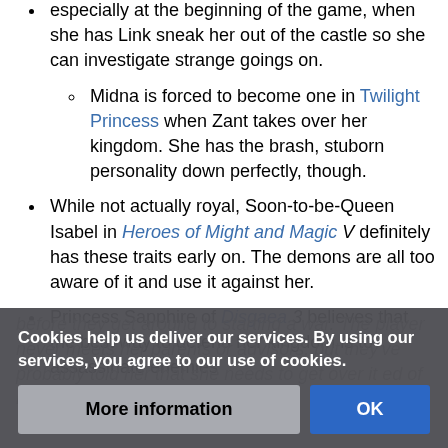Princess Zelda in Spirit Tracks would count, especially at the beginning of the game, when she has Link sneak her out of the castle so she can investigate strange goings on.
Midna is forced to become one in Twilight Princess when Zant takes over her kingdom. She has the brash, stuborn personality down perfectly, though.
While not actually royal, Soon-to-be-Queen Isabel in Heroes of Might and Magic V definitely has these traits early on. The demons are all too aware of it and use it against her.
Princess Sapphire of Disgaea 3 believes that the best way to defend her kingdom is to assassinate enemies before they get around to starting a war. The player never meets her parents or advisors, but they've probably told her that she needs to get over it ed of her.
Cookies help us deliver our services. By using our services, you agree to our use of cookies.